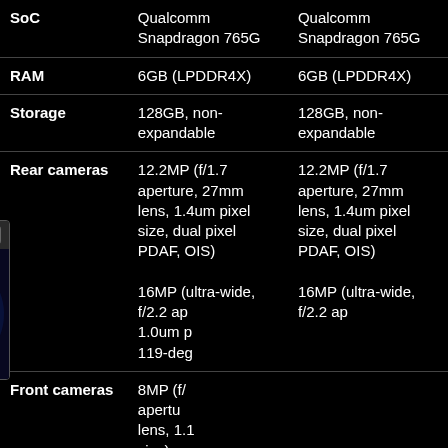|  | Device 1 | Device 2 |
| --- | --- | --- |
| SoC | Qualcomm Snapdragon 765G | Qualcomm Snapdragon 765G |
| RAM | 6GB (LPDDR4X) | 6GB (LPDDR4X) |
| Storage | 128GB, non-expandable | 128GB, non-expandable |
| Rear cameras | 12.2MP (f/1.7 aperture, 27mm lens, 1.4um pixel size, dual pixel PDAF, OIS) 16MP (ultra-wide, f/2.2 ap... 1.0um p... 119-deg... | 12.2MP (f/1.7 aperture, 27mm lens, 1.4um pixel size, dual pixel PDAF, OIS) 16MP (ultra-wide, f/2.2 ap... |
| Front cameras | 8MP (f/... apertu... lens, 1.1... size) |  |
| Battery | 4,680m... |  |
[Figure (screenshot): Popup overlay showing Samsung Galaxy Buds 2 Pro review video thumbnail with title bar 'Samsung Galaxy Buds 2 Pro review | Gr...' and close button, featuring GALAXY BUDS 2 PRO text on purple background with a person holding a product]